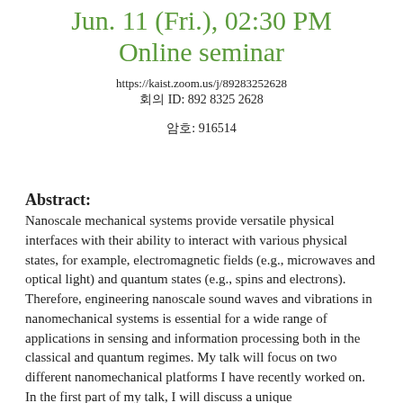Jun. 11 (Fri.), 02:30 PM
Online seminar
https://kaist.zoom.us/j/89283252628
회의 ID: 892 8325 2628
암호: 916514
Abstract:
Nanoscale mechanical systems provide versatile physical interfaces with their ability to interact with various physical states, for example, electromagnetic fields (e.g., microwaves and optical light) and quantum states (e.g., spins and electrons). Therefore, engineering nanoscale sound waves and vibrations in nanomechanical systems is essential for a wide range of applications in sensing and information processing both in the classical and quantum regimes. My talk will focus on two different nanomechanical platforms I have recently worked on. In the first part of my talk, I will discuss a unique nanomechanical platform called nanomechanical lattices which enable electrically tunable phonon propagation dynamics [1] and topologically protected phonon transport